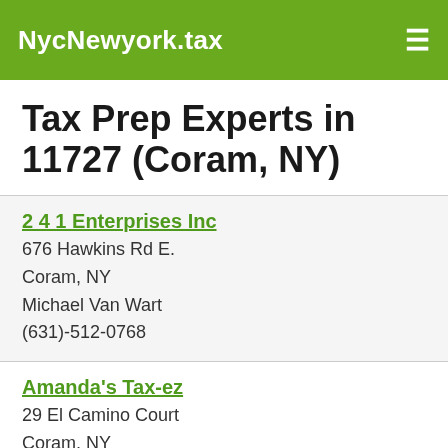NycNewyork.tax
Tax Prep Experts in 11727 (Coram, NY)
2 4 1 Enterprises Inc
676 Hawkins Rd E.
Coram, NY
Michael Van Wart
(631)-512-0768
Amanda's Tax-ez
29 El Camino Court
Coram, NY
Amanda Yardley
(631)-495-3707